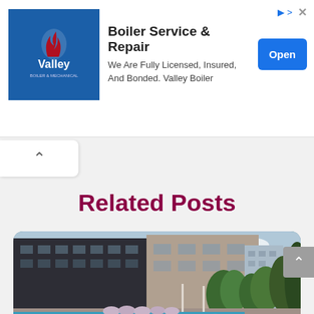[Figure (screenshot): Advertisement banner for Valley Boiler Service & Repair with logo, text, and Open button]
Boiler Service & Repair
We Are Fully Licensed, Insured, And Bonded. Valley Boiler
Related Posts
[Figure (photo): Luxury apartment building exterior with an outdoor swimming pool, bean bag chairs, lush greenery, and city skyline in background]